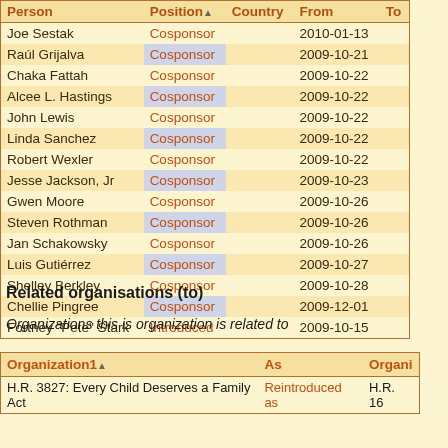| Person | Position | Country | From | To |
| --- | --- | --- | --- | --- |
| Joe Sestak | Cosponsor |  | 2010-01-13 |  |
| Raúl Grijalva | Cosponsor |  | 2009-10-21 |  |
| Chaka Fattah | Cosponsor |  | 2009-10-22 |  |
| Alcee L. Hastings | Cosponsor |  | 2009-10-22 |  |
| John Lewis | Cosponsor |  | 2009-10-22 |  |
| Linda Sanchez | Cosponsor |  | 2009-10-22 |  |
| Robert Wexler | Cosponsor |  | 2009-10-22 |  |
| Jesse Jackson, Jr | Cosponsor |  | 2009-10-23 |  |
| Gwen Moore | Cosponsor |  | 2009-10-26 |  |
| Steven Rothman | Cosponsor |  | 2009-10-26 |  |
| Jan Schakowsky | Cosponsor |  | 2009-10-26 |  |
| Luis Gutiérrez | Cosponsor |  | 2009-10-27 |  |
| Shelley Berkley | Cosponsor |  | 2009-10-28 |  |
| Chellie Pingree | Cosponsor |  | 2009-12-01 |  |
| Fortney "Pete" Stark | Introduced |  | 2009-10-15 |  |
Related organisations (to)
Organizations this is organization is related to
| Organization1 | As | Organi |
| --- | --- | --- |
| H.R. 3827: Every Child Deserves a Family Act | Reintroduced as | H.R. 16 |